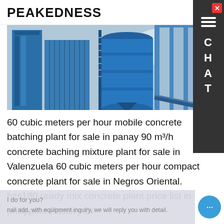PEAKEDNESS   ME
[Figure (photo): Industrial concrete batching plant with blue steel silos, conveyor structures, and machinery against a cloudy sky]
60 cubic meters per hour mobile concrete batching plant for sale in panay 90 m³/h concrete baching mixture plant for sale in Valenzuela 60 cubic meters per hour compact concrete plant for sale in Negros Oriental. hzs180 ready mix concrete plant price list in philippine Factory Di... Co...
I do for you?
nail add. with equipment inquiry, we will reply you with detail.